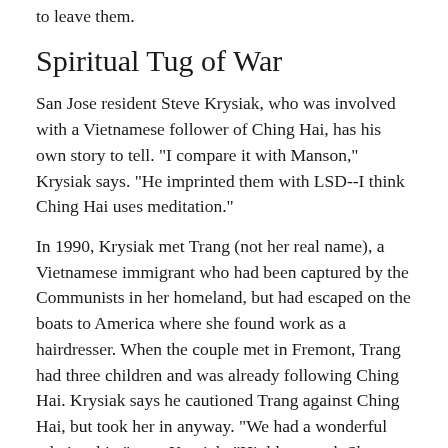to leave them.
Spiritual Tug of War
San Jose resident Steve Krysiak, who was involved with a Vietnamese follower of Ching Hai, has his own story to tell. "I compare it with Manson," Krysiak says. "He imprinted them with LSD--I think Ching Hai uses meditation."
In 1990, Krysiak met Trang (not her real name), a Vietnamese immigrant who had been captured by the Communists in her homeland, but had escaped on the boats to America where she found work as a hairdresser. When the couple met in Fremont, Trang had three children and was already following Ching Hai. Krysiak says he cautioned Trang against Ching Hai, but took her in anyway. "We had a wonderful relationship," says Krysiak. "Highly sexual. She was the most highly sexual person I ever met."
That soon changed, her way. "She just said, 'I hav...